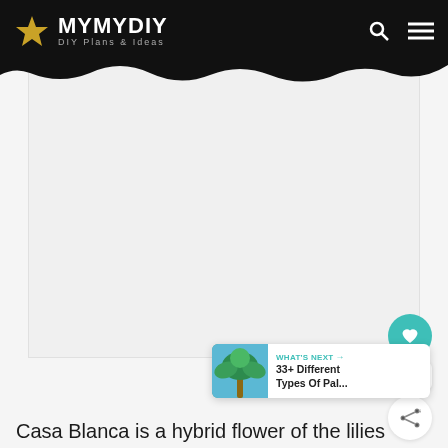MYMYDIY DIY Plans & Ideas
[Figure (photo): Large white/blank image placeholder area for a Casa Blanca lily flower photo]
[Figure (photo): What's Next thumbnail showing a palm tree against blue sky]
WHAT'S NEXT → 33+ Different Types Of Pal...
Casa Blanca is a hybrid flower of the lilies